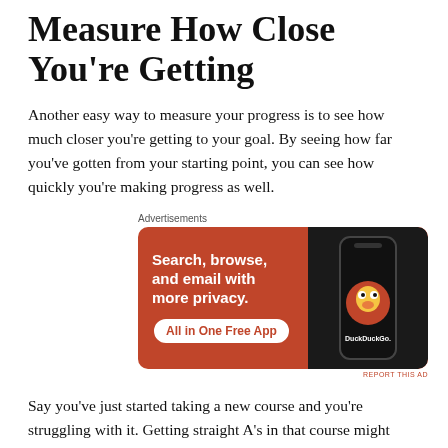Measure How Close You're Getting
Another easy way to measure your progress is to see how much closer you're getting to your goal. By seeing how far you've gotten from your starting point, you can see how quickly you're making progress as well.
[Figure (other): DuckDuckGo advertisement banner with orange background. Headline: 'Search, browse, and email with more privacy.' Button: 'All in One Free App'. Image of a smartphone showing the DuckDuckGo app icon and logo.]
Say you've just started taking a new course and you're struggling with it. Getting straight A's in that course might seem impossible or a long